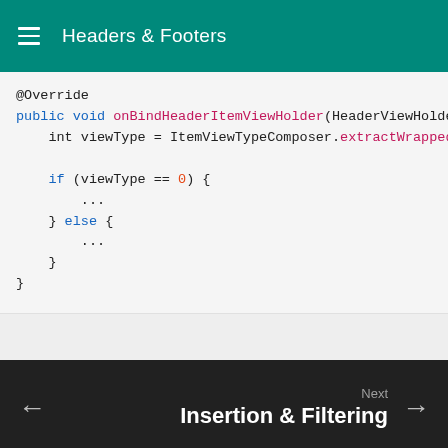Headers & Footers
@Override
public void onBindHeaderItemViewHolder(HeaderViewHolder holder, ...) {
    int viewType = ItemViewTypeComposer.extractWrapped...;

    if (viewType == 0) {
        ...
    } else {
        ...
    }
}
Next
Insertion & Filtering
Copyright © 2015-2018 Haruki Hasegawa
powered by MkDocs and Material for MkDocs